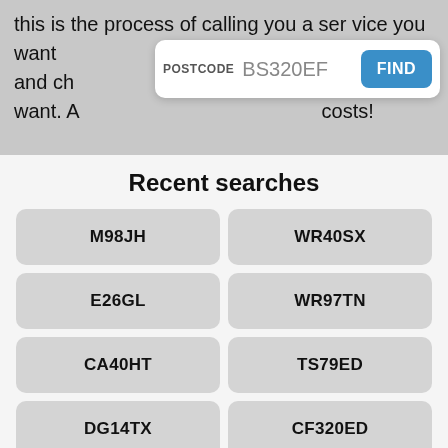this is the process of calling you a service you want and choosing the services that you don't want. Avoid this situation at all costs!
[Figure (screenshot): Search box with POSTCODE label showing BS320EF and a blue FIND button]
Recent searches
M98JH
WR40SX
E26GL
WR97TN
CA40HT
TS79ED
DG14TX
CF320ED
LL184SP
DN396XN
PO122EY
BS320EF
Postcodes near BS32 0EF